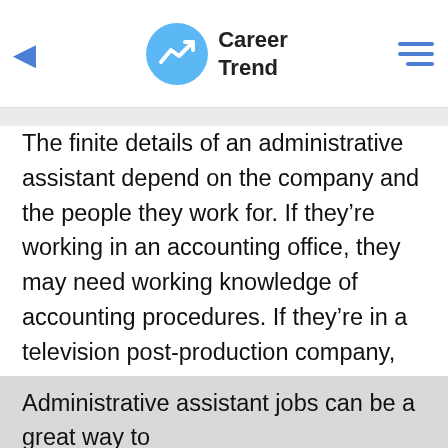Career Trend
The finite details of an administrative assistant depend on the company and the people they work for. If they’re working in an accounting office, they may need working knowledge of accounting procedures. If they’re in a television post-production company, they’ll need to know film and TV production lingo. For an advertising company, they’ll have to have basic knowledge of ad buys and dealing with creatives and clients.
Administrative assistant jobs can be a great way to